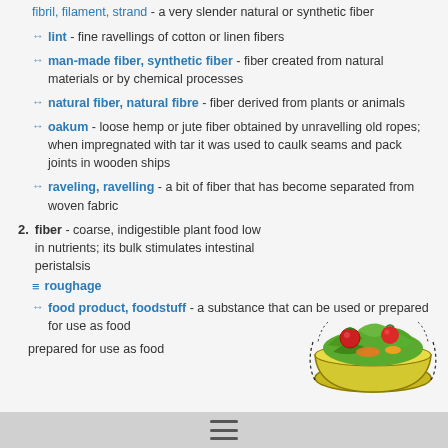fibril, filament, strand - a very slender natural or synthetic fiber
↔ lint - fine ravellings of cotton or linen fibers
↔ man-made fiber, synthetic fiber - fiber created from natural materials or by chemical processes
↔ natural fiber, natural fibre - fiber derived from plants or animals
↔ oakum - loose hemp or jute fiber obtained by unravelling old ropes; when impregnated with tar it was used to caulk seams and pack joints in wooden ships
↔ raveling, ravelling - a bit of fiber that has become separated from woven fabric
2. fiber - coarse, indigestible plant food low in nutrients; its bulk stimulates intestinal peristalsis
≡ roughage
↔ food product, foodstuff - a substance that can be used or prepared for use as food
[Figure (illustration): Illustration of a colorful salad bowl with vegetables including tomatoes, lettuce, and other greens]
menu icon